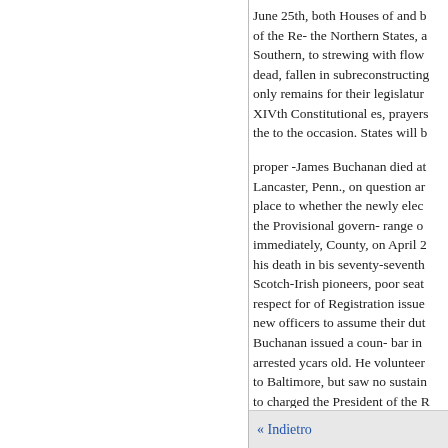June 25th, both Houses of and b of the Re- the Northern States, a Southern, to strewing with flow dead, fallen in subreconstructing only remains for their legislatur XIVth Constitutional es, prayers the to the occasion. States will b
proper -James Buchanan died at Lancaster, Penn., on question ar place to whether the newly elec the Provisional govern- range o immediately, County, on April 2 his death in bis seventy-seventh Scotch-Irish pioneers, poor seat respect for of Registration issue new officers to assume their dut Buchanan issued a coun- bar in arrested ycars old. He volunteer to Baltimore, but saw no sustain to charged the President of the B subsequently, on the passage in
« Indietro